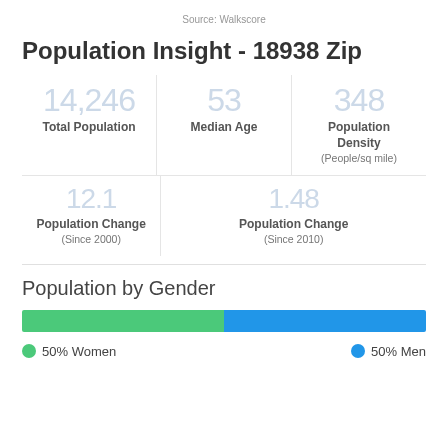Source: Walkscore
Population Insight - 18938 Zip
| Metric | Value |
| --- | --- |
| Total Population | 14,246 |
| Median Age | 53 |
| Population Density (People/sq mile) | 348 |
| Population Change (Since 2000) | 12.1 |
| Population Change (Since 2010) | 1.48 |
Population by Gender
[Figure (stacked-bar-chart): Population by Gender]
50% Women    50% Men